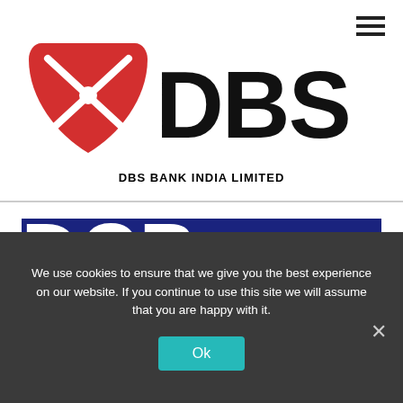[Figure (logo): DBS Bank logo with red emblem and black DBS lettering]
DBS BANK INDIA LIMITED
[Figure (logo): DCB BANK logo with white text on dark navy blue background]
We use cookies to ensure that we give you the best experience on our website. If you continue to use this site we will assume that you are happy with it.